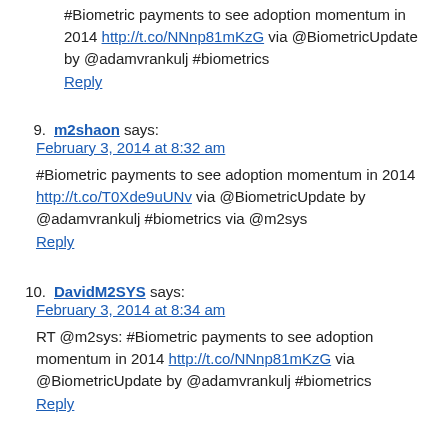#Biometric payments to see adoption momentum in 2014 http://t.co/NNnp81mKzG via @BiometricUpdate by @adamvrankulj #biometrics
Reply
9. m2shaon says:
February 3, 2014 at 8:32 am
#Biometric payments to see adoption momentum in 2014 http://t.co/T0Xde9uUNv via @BiometricUpdate by @adamvrankulj #biometrics via @m2sys
Reply
10. DavidM2SYS says:
February 3, 2014 at 8:34 am
RT @m2sys: #Biometric payments to see adoption momentum in 2014 http://t.co/NNnp81mKzG via @BiometricUpdate by @adamvrankulj #biometrics
Reply